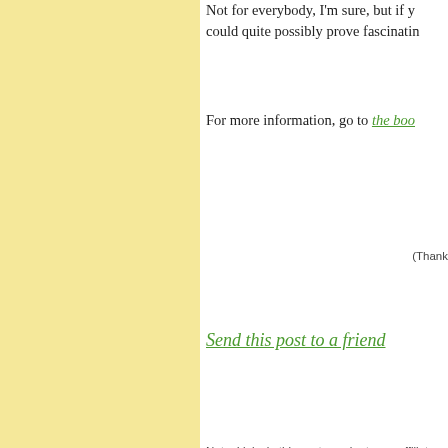Not for everybody, I'm sure, but if y... could quite possibly prove fascinatin...
For more information, go to the book
(Thank...
Send this post to a friend
Note: Links in this post may be to our affiliates; sales thro...
Original contents copyright 2010 by Michael C. Johnston
Featured Comment by latent_ima... L'Histoire de France was shot on Ko... interviewed Gibson for an article abo... May 1991 issue of Camera & Darkr... regretted the cessation of publication... just getting really good.) I also publi... Kodachrome 64 (amateur version bo... the rolls were going out of date) duri... weren't as notable, but I'm proud of t...